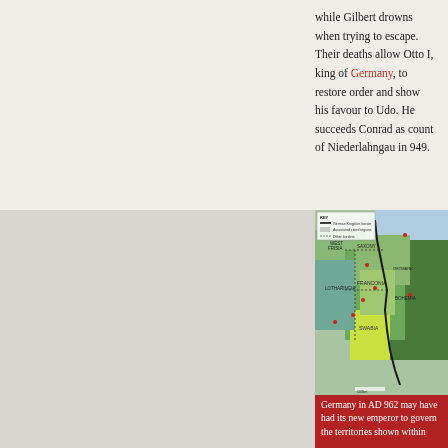while Gilbert drowns when trying to escape. Their deaths allow Otto I, king of Germany, to restore order and show his favour to Udo. He succeeds Conrad as count of Niederlahngau in 949.
[Figure (map): Historical map of Germany in AD 962 showing the German Kingdom border, associated cities/regions, and other borders. Regions shown include Saxony, Franconia, Swabia, Lotharingia, West Frisia, Thuringia, Bohemia, Moravia, and surrounding territories. Various cities marked with red dots.]
Germany in AD 962 may have had its new emperor to govern the territories shown within